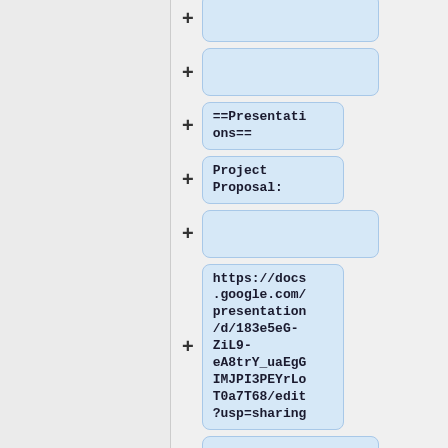[Figure (flowchart): A vertical flowchart/outline editor showing collapsible nodes with plus buttons. Nodes visible include: an empty node at top, an empty node, '==Presentations==', 'Project Proposal:', an empty node, a URL 'https://docs.google.com/presentation/d/183e5eG-ZiL9-eA8trY_uaEgGIMJPI3PEYrLoT0a7T68/edit?usp=sharing', an empty node, and 'Week 1' partially visible at bottom.]